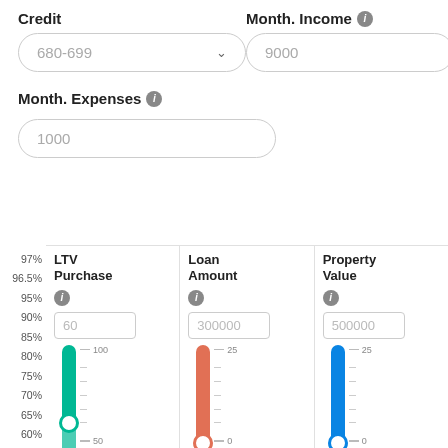Credit
Month. Income
680-699
9000
Month. Expenses
1000
[Figure (screenshot): Loan calculator interface with three vertical sliders for LTV Purchase (value 60, range 50-100), Loan Amount (value 300000, range 0-25), and Property Value (value 500000, range 0-25), with a Y-axis showing percentages from 60% to 97%]